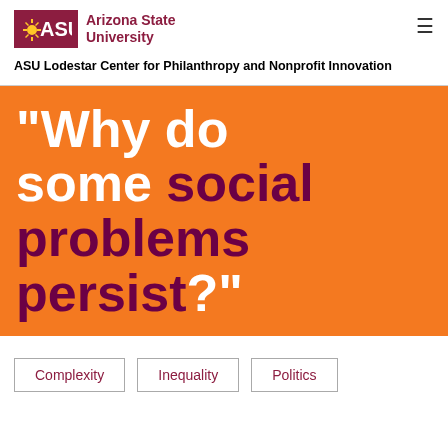ASU — Arizona State University
ASU Lodestar Center for Philanthropy and Nonprofit Innovation
[Figure (other): Orange banner with large bold quote text: "Why do some social problems persist?" — white text for 'Why do some' and 'persist?' with maroon/dark text for 'social problems']
Complexity
Inequality
Politics